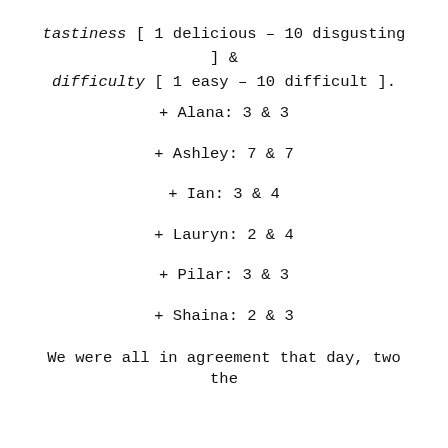tastiness [ 1 delicious – 10 disgusting ] & difficulty [ 1 easy – 10 difficult ].
+ Alana: 3 & 3
+ Ashley: 7 & 7
+ Ian: 3 & 4
+ Lauryn: 2 & 4
+ Pilar: 3 & 3
+ Shaina: 2 & 3
We were all in agreement that day, two the